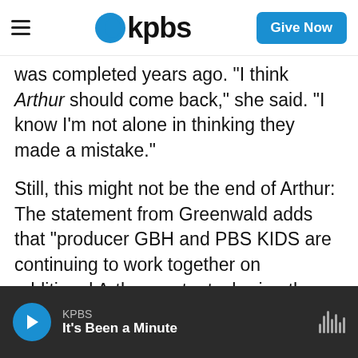KPBS - Give Now
was completed years ago. "I think Arthur should come back," she said. "I know I'm not alone in thinking they made a mistake."
Still, this might not be the end of Arthur: The statement from Greenwald adds that "producer GBH and PBS KIDS are continuing to work together on additional Arthur content, sharing the lessons of Arthur and his friends in new ways."
Copyright 2021 NPR. To see more, visit https://www.npr.org.
KPBS — It's Been a Minute